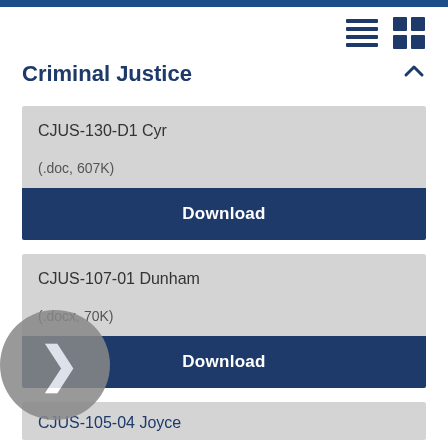Criminal Justice
CJUS-130-D1 Cyr
(.doc, 607K)
Download
CJUS-107-01 Dunham
(.docx, 70K)
Download
CJUS-105-04 Joyce